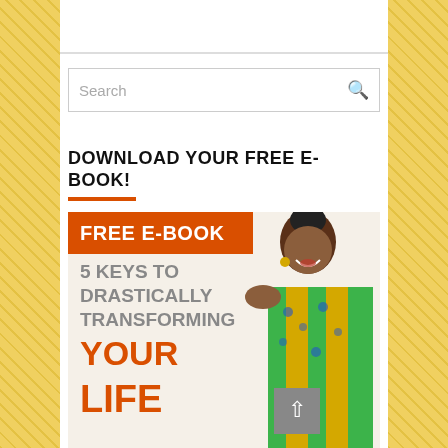[Figure (screenshot): Search bar with text 'Search' and a magnifying glass icon on the right, inside a rectangular border]
DOWNLOAD YOUR FREE E-BOOK!
[Figure (infographic): E-book promotional image with orange header 'FREE E-BOOK', large gray text '5 KEYS TO DRASTICALLY TRANSFORMING YOUR LIFE' in orange, and a smiling woman in colorful African print clothing on the right side]